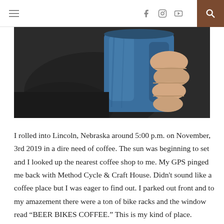≡  [facebook] [instagram] [youtube] [search]
[Figure (photo): Close-up photo of a person in a dark jacket holding a large blue ceramic coffee mug]
I rolled into Lincoln, Nebraska around 5:00 p.m. on November, 3rd 2019 in a dire need of coffee. The sun was beginning to set and I looked up the nearest coffee shop to me. My GPS pinged me back with Method Cycle & Craft House. Didn't sound like a coffee place but I was eager to find out. I parked out front and to my amazement there were a ton of bike racks and the window read “BEER BIKES COFFEE.” This is my kind of place.